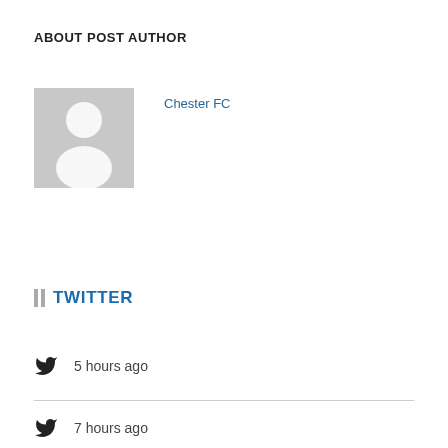ABOUT POST AUTHOR
[Figure (illustration): Generic grey placeholder avatar silhouette (head and shoulders) on grey background]
Chester FC
TWITTER
5 hours ago
7 hours ago